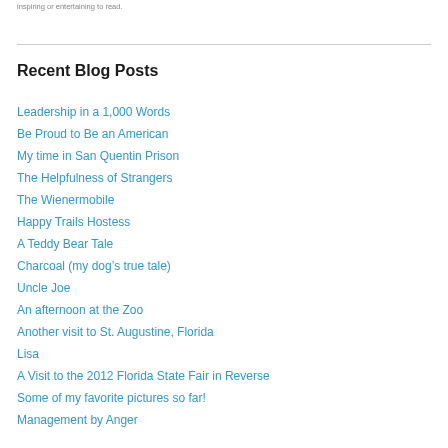inspiring or entertaining to read.
Recent Blog Posts
Leadership in a 1,000 Words
Be Proud to Be an American
My time in San Quentin Prison
The Helpfulness of Strangers
The Wienermobile
Happy Trails Hostess
A Teddy Bear Tale
Charcoal (my dog’s true tale)
Uncle Joe
An afternoon at the Zoo
Another visit to St. Augustine, Florida
Lisa
A Visit to the 2012 Florida State Fair in Reverse
Some of my favorite pictures so far!
Management by Anger